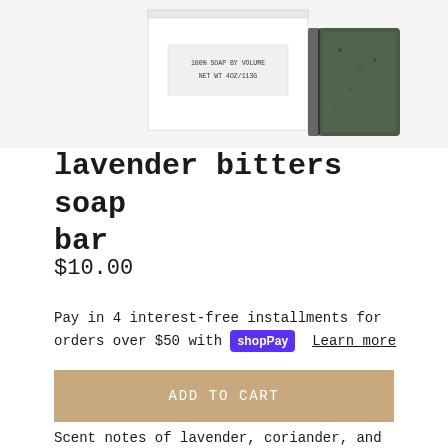[Figure (photo): Product photo of lavender bitters soap bar in white packaging box with green/dark soap visible beside it. Box reads '100% SOAP BY VOLUME' and 'NET WT 4OZ/113G'.]
lavender bitters soap bar
$10.00
Pay in 4 interest-free installments for orders over $50 with shopPay  Learn more
ADD TO CART
Scent notes of lavender, coriander, and